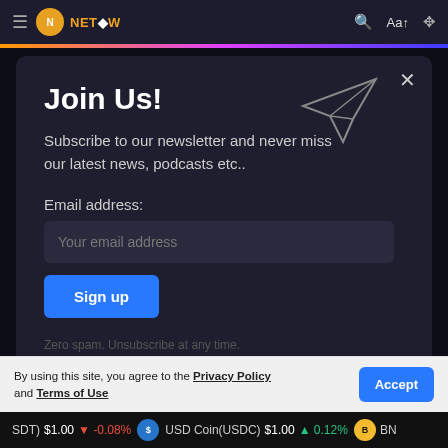NET | Aa | settings
Join Us!
Subscribe to our newsletter and never miss our latest news, podcasts etc..
Email address:
Your email address
Sign up
Zero spam. Unsubscribe at any time.
By using this site, you agree to the Privacy Policy and Terms of Use
(USDT) $1.00 -0.08% | USD Coin(USDC) $1.00 0.12% | BN